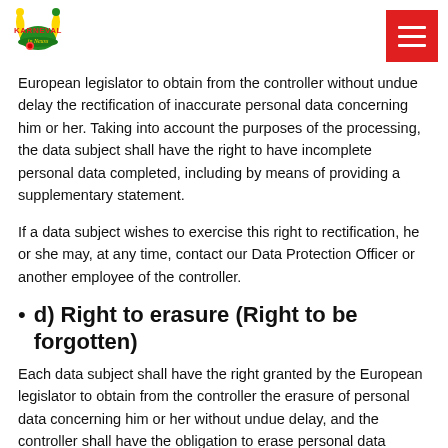Karneval in Neuss
European legislator to obtain from the controller without undue delay the rectification of inaccurate personal data concerning him or her. Taking into account the purposes of the processing, the data subject shall have the right to have incomplete personal data completed, including by means of providing a supplementary statement.
If a data subject wishes to exercise this right to rectification, he or she may, at any time, contact our Data Protection Officer or another employee of the controller.
d) Right to erasure (Right to be forgotten)
Each data subject shall have the right granted by the European legislator to obtain from the controller the erasure of personal data concerning him or her without undue delay, and the controller shall have the obligation to erase personal data without undue delay where one of the following grounds applies, as long as the processing is not